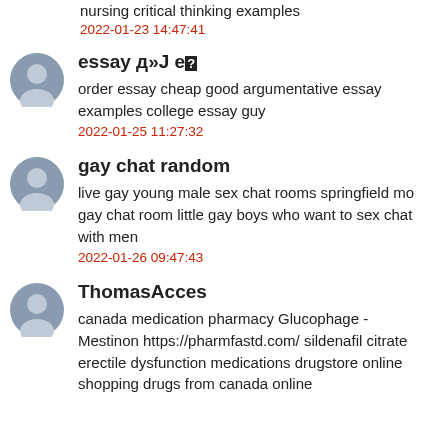nursing critical thinking examples
2022-01-23 14:47:41
essay д»J е◆
order essay cheap good argumentative essay examples college essay guy
2022-01-25 11:27:32
gay chat random
live gay young male sex chat rooms springfield mo gay chat room little gay boys who want to sex chat with men
2022-01-26 09:47:43
ThomasAcces
canada medication pharmacy Glucophage - Mestinon https://pharmfastd.com/ sildenafil citrate erectile dysfunction medications drugstore online shopping drugs from canada online